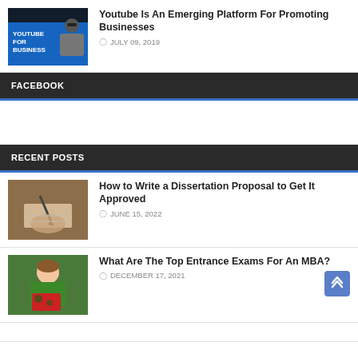[Figure (photo): Thumbnail image: YouTube for Business with text overlay on blue background and person wearing sunglasses]
Youtube Is An Emerging Platform For Promoting Businesses
JULY 09, 2019
FACEBOOK
RECENT POSTS
[Figure (photo): Thumbnail image: person writing with a pen on paper]
How to Write a Dissertation Proposal to Get It Approved
JUNE 15, 2022
[Figure (photo): Thumbnail image: smiling woman holding a red folder/book]
What Are The Top Entrance Exams For An MBA?
DECEMBER 17, 2021